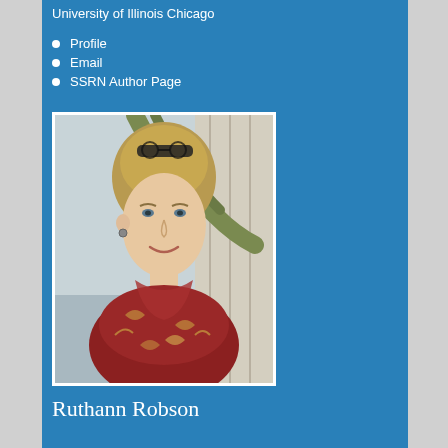University of Illinois Chicago
Profile
Email
SSRN Author Page
[Figure (photo): Portrait photo of a middle-aged woman with blonde hair and sunglasses on her head, wearing a patterned red and gold blouse, leaning against a wooden railing outdoors.]
Ruthann Robson